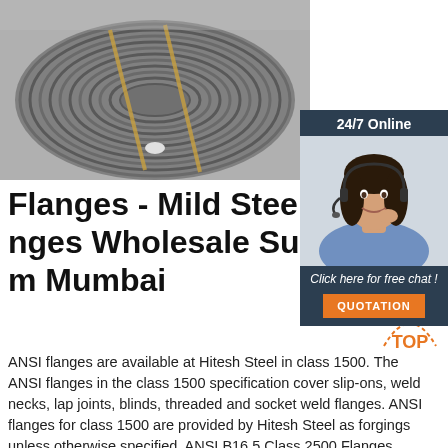[Figure (photo): Large coil of steel wire rod on warehouse floor, grey steel coils bundled with strapping]
[Figure (photo): 24/7 Online chat panel with female customer service agent wearing headset, smiling, with 'Click here for free chat!' text and orange QUOTATION button]
[Figure (infographic): Orange TOP badge/icon with dotted arc and arrow pointing upward]
Flanges - Mild Steel Flanges Wholesale Supplier from Mumbai
ANSI flanges are available at Hitesh Steel in class 1500. The ANSI flanges in the class 1500 specification cover slip-ons, weld necks, lap joints, blinds, threaded and socket weld flanges. ANSI flanges for class 1500 are provided by Hitesh Steel as forgings unless otherwise specified. ANSI B16.5 Class 2500 Flanges